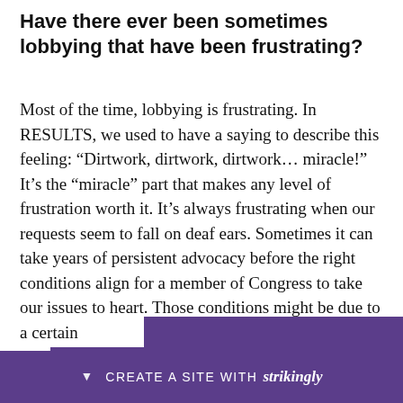Have there ever been sometimes lobbying that have been frustrating?
Most of the time, lobbying is frustrating. In RESULTS, we used to have a saying to describe this feeling: “Dirtwork, dirtwork, dirtwork… miracle!” It’s the “miracle” part that makes any level of frustration worth it. It’s always frustrating when our requests seem to fall on deaf ears. Sometimes it can take years of persistent advocacy before the right conditions align for a member of Congress to take our issues to heart. Those conditions might be due to a certain phrase... we bring... we
[Figure (other): Strikingly website builder promotional banner overlay at the bottom of the page. Purple background with white text reading 'CREATE A SITE WITH strikingly' and a downward arrow icon.]